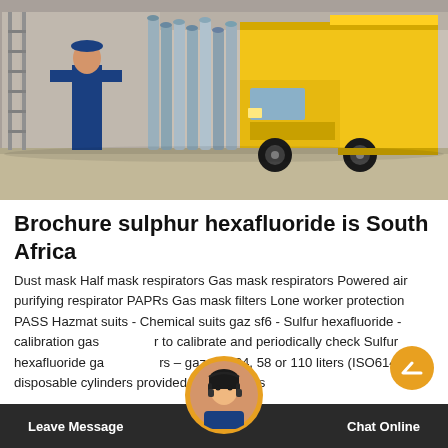[Figure (photo): Warehouse or loading dock interior showing a yellow delivery truck on the right, tall gray gas cylinders stacked in the middle-left area, a person in blue work clothes on the left, and a concrete floor with corrugated metal structures in the background.]
Brochure sulphur hexafluoride is South Africa
Dust mask Half mask respirators Gas mask respirators Powered air purifying respirator PAPRs Gas mask filters Lone worker protection PASS Hazmat suits - Chemical suits gaz sf6 - Sulfur hexafluoride - calibration gas used to calibrate and periodically check Sulfur hexafluoride gas detectors – gaz sf6, 34, 58 or 110 liters (ISO6142) disposable cylinders provided with analysis